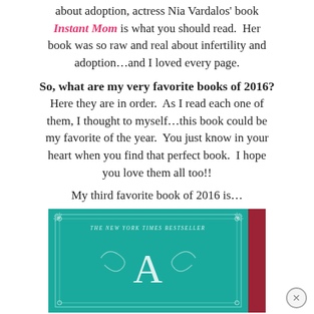about adoption, actress Nia Vardalos' book Instant Mom is what you should read.  Her book was so raw and real about infertility and adoption…and I loved every page.
So, what are my very favorite books of 2016?  Here they are in order.  As I read each one of them, I thought to myself…this book could be my favorite of the year.  You just know in your heart when you find that perfect book.  I hope you love them all too!!
My third favorite book of 2016 is…
[Figure (illustration): Book cover of a New York Times Bestseller with teal background, decorative art deco border, starburst corners, and a large letter 'A' in the center with ornamental flourishes. A dark red spine is visible on the right side. Below the cover, the word 'HUNDRED' appears in large light teal letters.]